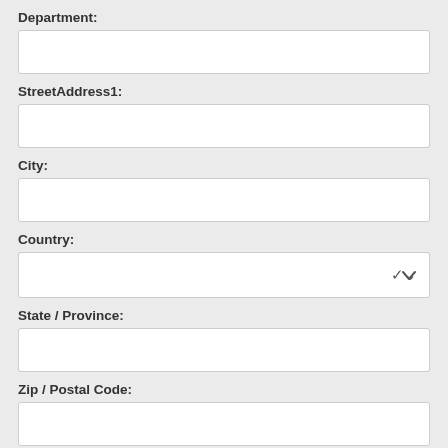Department:
[Figure (other): Empty text input field for Department]
StreetAddress1:
[Figure (other): Empty text input field for StreetAddress1]
City:
[Figure (other): Empty text input field for City]
Country:
[Figure (other): Dropdown select field for Country with chevron arrow]
State / Province:
[Figure (other): Empty text input field for State / Province]
Zip / Postal Code:
[Figure (other): Empty text input field for Zip / Postal Code]